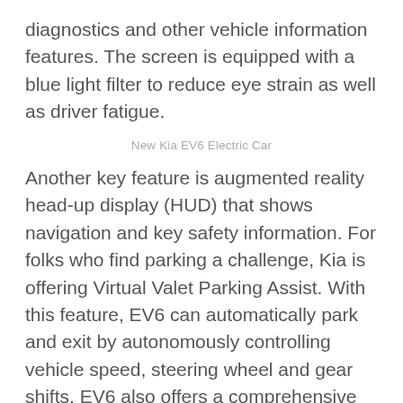diagnostics and other vehicle information features. The screen is equipped with a blue light filter to reduce eye strain as well as driver fatigue.
New Kia EV6 Electric Car
Another key feature is augmented reality head-up display (HUD) that shows navigation and key safety information. For folks who find parking a challenge, Kia is offering Virtual Valet Parking Assist. With this feature, EV6 can automatically park and exit by autonomously controlling vehicle speed, steering wheel and gear shifts. EV6 also offers a comprehensive range of connectivity features that can be